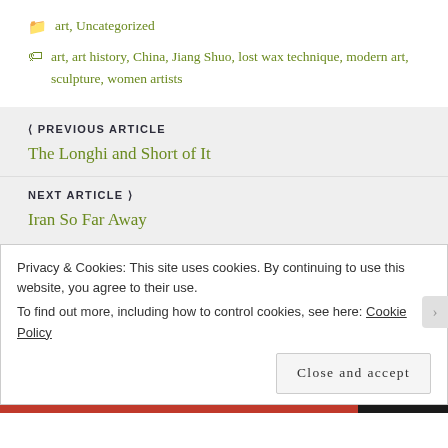art, Uncategorized
art, art history, China, Jiang Shuo, lost wax technique, modern art, sculpture, women artists
PREVIOUS ARTICLE
The Longhi and Short of It
NEXT ARTICLE
Iran So Far Away
Privacy & Cookies: This site uses cookies. By continuing to use this website, you agree to their use.
To find out more, including how to control cookies, see here: Cookie Policy
Close and accept